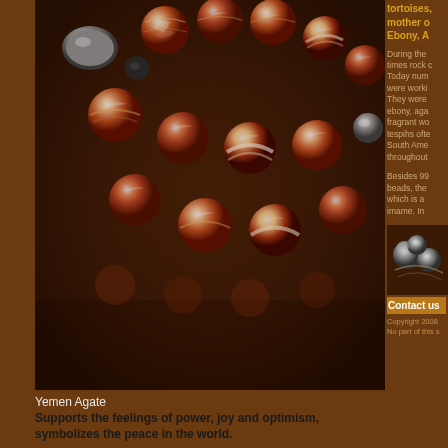[Figure (photo): Close-up photo of Yemen Agate prayer beads (misbaha/tasbih) - red and white banded agate spherical beads on a dark brown background]
Yemen Agate
Supports the feelings of power, joy and optimism, symbolizes the peace in the world.
tortoises, mother o Ebony, A
During the times rock c Today num were worki They were ebony, aga fragrant wo tespihs ofte South Ame throughout
Besides 99 beads, the which is a imame. In
[Figure (photo): Small thumbnail photo of silver decorative beads/accessories]
Contact us
Copyright 2008 No part of this s